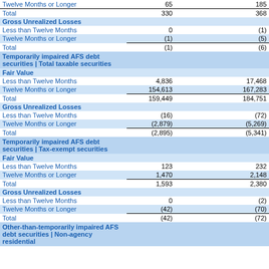|  | Col1 | Col2 | Col3 |
| --- | --- | --- | --- |
| Twelve Months or Longer | 65 |  | 185 |
| Total | 330 |  | 368 |
| Gross Unrealized Losses |  |  |  |
| Less than Twelve Months | 0 |  | (1) |
| Twelve Months or Longer | (1) |  | (5) |
| Total | (1) |  | (6) |
| Temporarily impaired AFS debt securities | Total taxable securities |  |  |  |
| Fair Value |  |  |  |
| Less than Twelve Months | 4,836 |  | 17,468 |
| Twelve Months or Longer | 154,613 |  | 167,283 |
| Total | 159,449 |  | 184,751 |
| Gross Unrealized Losses |  |  |  |
| Less than Twelve Months | (16) |  | (72) |
| Twelve Months or Longer | (2,879) |  | (5,269) |
| Total | (2,895) |  | (5,341) |
| Temporarily impaired AFS debt securities | Tax-exempt securities |  |  |  |
| Fair Value |  |  |  |
| Less than Twelve Months | 123 |  | 232 |
| Twelve Months or Longer | 1,470 |  | 2,148 |
| Total | 1,593 |  | 2,380 |
| Gross Unrealized Losses |  |  |  |
| Less than Twelve Months | 0 |  | (2) |
| Twelve Months or Longer | (42) |  | (70) |
| Total | (42) |  | (72) |
| Other-than-temporarily impaired AFS debt securities | Non-agency residential |  |  |  |